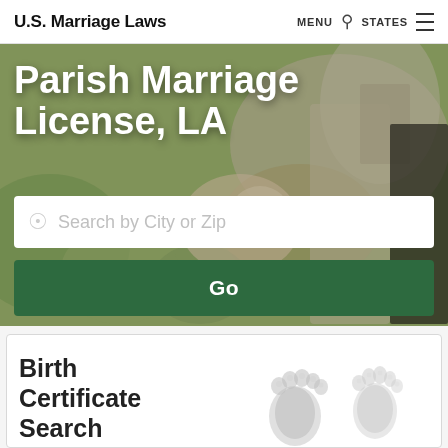U.S. Marriage Laws  MENU  🔍  STATES  ≡
Parish Marriage License, LA
[Figure (screenshot): Hero background photo of a wedding couple, blurred, with green/natural tones]
Search by City or Zip
Go
Birth Certificate Search
[Figure (illustration): Baby footprints illustration in grey ink]